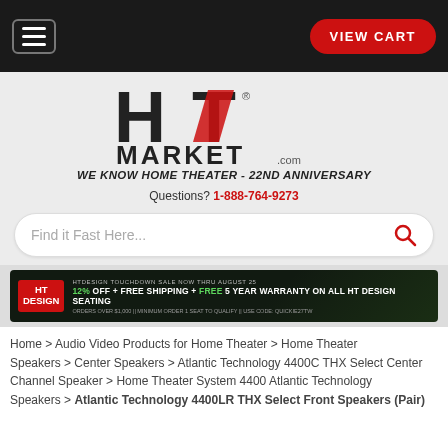VIEW CART
[Figure (logo): HT Market logo with red and black lettering and tagline WE KNOW HOME THEATER - 22ND ANNIVERSARY]
Questions? 1-888-764-9273
[Figure (screenshot): Search bar with placeholder text Find it Fast Here... and red search icon]
[Figure (infographic): HT Design banner: 12% OFF + FREE SHIPPING + FREE 5 YEAR WARRANTY ON ALL HT DESIGN SEATING]
Home > Audio Video Products for Home Theater > Home Theater Speakers > Center Speakers > Atlantic Technology 4400C THX Select Center Channel Speaker > Home Theater System 4400 Atlantic Technology Speakers > Atlantic Technology 4400LR THX Select Front Speakers (Pair)